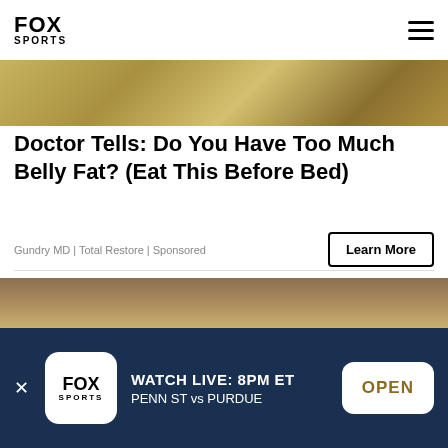FOX SPORTS
[Figure (photo): Close-up food photo with golden/tan tones, partially visible at top of page]
Doctor Tells: Do You Have Too Much Belly Fat? (Eat This Before Bed)
Gundry MD | Total Restore | Sponsored
[Figure (photo): Photo of iron bars or gate against stone/textured wall with golden background]
WATCH LIVE: 8PM ET PENN ST vs PURDUE OPEN